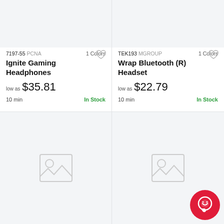[Figure (other): Product image placeholder for Ignite Gaming Headphones (top left)]
7197-55 PCNA   1 Colors
Ignite Gaming Headphones
low as $35.81
10 min   In Stock
[Figure (other): Product image placeholder for Wrap Bluetooth (R) Headset (top right)]
TEK193 MGROUP   1 Colors
Wrap Bluetooth (R) Headset
low as $22.79
10 min   In Stock
[Figure (other): Product image placeholder (bottom left)]
[Figure (other): Product image placeholder (bottom right) with chat bubble icon]